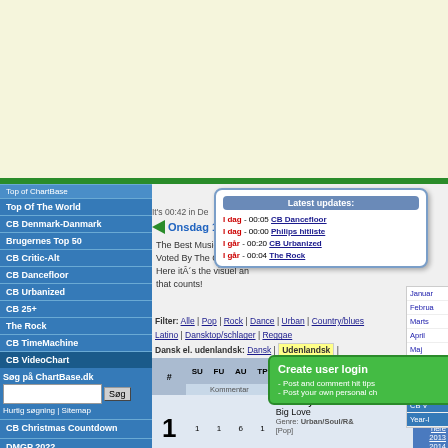[Figure (screenshot): ChartBase.dk website screenshot showing navigation menu, Latest updates popup, CB VideoChart chart listing with Black Eyed Peas - Big Love at #1]
Latest updates: I dag - 00:05 CB Dancefloor, I dag - 00:00 Philips hitliste, I går - 00:20 CB Urbanized, I går - 00:04 The Rock
Create user login - Post and comment hit tips - Post your own personal ch
Filter: Alle | Pop | Rock | Dance | Urban | Country/blues | Latino | Dansktop/schlager | Reggae
Dansk el. udenlandsk: Dansk | Udenlandsk |
| # | SU | FU | AU | TP | Artist Titel | Væ |
| --- | --- | --- | --- | --- | --- | --- |
| 1 | 1 | 1 | 6 | 1 | Black Eyed Peas - Big Love - Genre: Urban/Soul/R&B [Pop] | 2008 2010 2009 2013 2014 2016 |